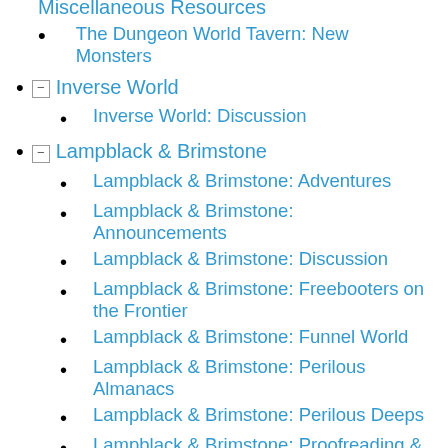Miscellaneous Resources (partial, top cut off)
The Dungeon World Tavern: New Monsters
⊟ Inverse World
Inverse World: Discussion
⊟ Lampblack & Brimstone
Lampblack & Brimstone: Adventures
Lampblack & Brimstone: Announcements
Lampblack & Brimstone: Discussion
Lampblack & Brimstone: Freebooters on the Frontier
Lampblack & Brimstone: Funnel World
Lampblack & Brimstone: Perilous Almanacs
Lampblack & Brimstone: Perilous Deeps
Lampblack & Brimstone: Proofreading &